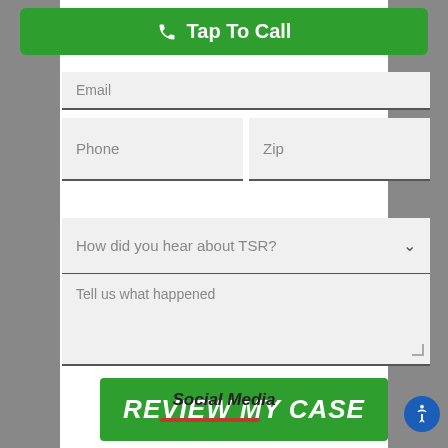[Figure (screenshot): Green 'Tap To Call' button with phone icon at top of page]
Email
Phone
Zip
How did you hear about TSR?
Tell us what happened
REVIEW MY CASE
Social Media